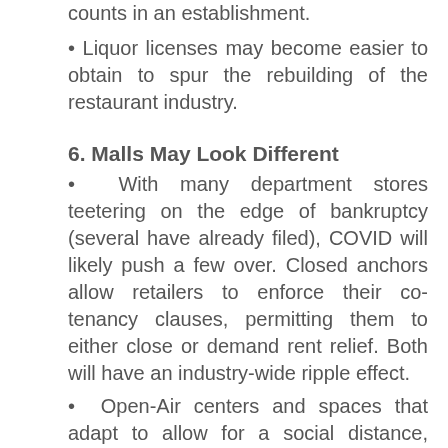• Liquor licenses may become easier to obtain to spur the rebuilding of the restaurant industry.
6. Malls May Look Different
• With many department stores teetering on the edge of bankruptcy (several have already filed), COVID will likely push a few over. Closed anchors allow retailers to enforce their co-tenancy clauses, permitting them to either close or demand rent relief. Both will have an industry-wide ripple effect.
• Open-Air centers and spaces that adapt to allow for a social distance, creatively, will be more apt to renew